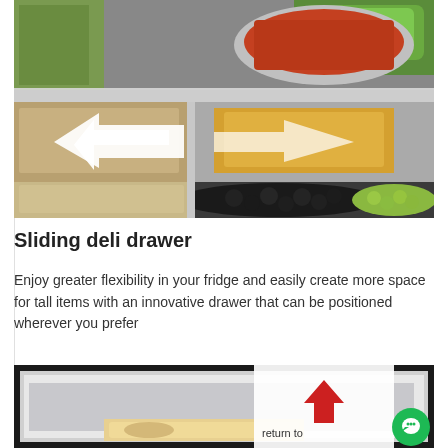[Figure (photo): Interior of a refrigerator showing a sliding deli drawer with food items including grapes, olives, cheese, vegetables. Two white arrows indicate the drawer can slide in both directions.]
Sliding deli drawer
Enjoy greater flexibility in your fridge and easily create more space for tall items with an innovative drawer that can be positioned wherever you prefer
[Figure (photo): Interior of a refrigerator freezer compartment partially visible, with a return-to-top button overlay and a green chat support button.]